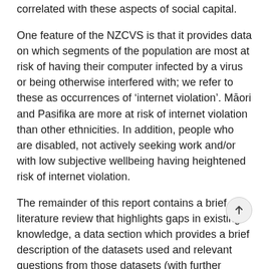correlated with these aspects of social capital.
One feature of the NZCVS is that it provides data on which segments of the population are most at risk of having their computer infected by a virus or being otherwise interfered with; we refer to these as occurrences of 'internet violation'. Māori and Pasifika are more at risk of internet violation than other ethnicities. In addition, people who are disabled, not actively seeking work and/or with low subjective wellbeing having heightened risk of internet violation.
The remainder of this report contains a brief literature review that highlights gaps in existing knowledge, a data section which provides a brief description of the datasets used and relevant questions from those datasets (with further information provided in the Appendix) and a methodology section.
We present our results relating to digital inclusion (…)